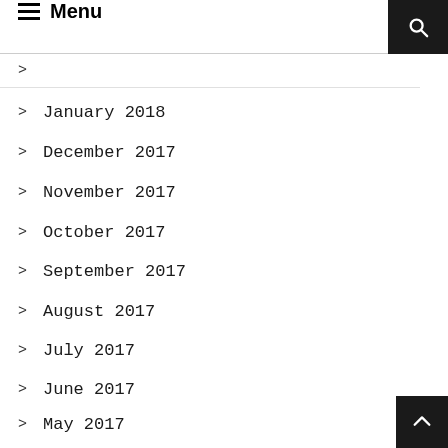Menu
January 2018
December 2017
November 2017
October 2017
September 2017
August 2017
July 2017
June 2017
May 2017
April 2017